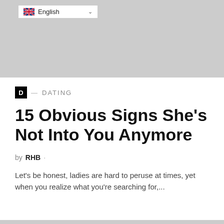[Figure (screenshot): Gray banner area at top of webpage with language selector dropdown showing UK flag and 'English' text with chevron]
D — DATING
15 Obvious Signs She's Not Into You Anymore
by RHB ·
Let's be honest, ladies are hard to peruse at times, yet when you realize what you're searching for,...